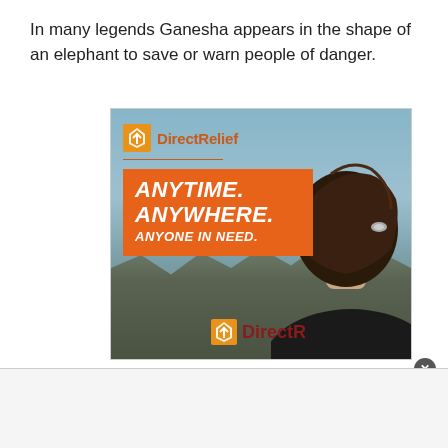In many legends Ganesha appears in the shape of an elephant to save or warn people of danger.
[Figure (photo): Direct Relief advertisement banner showing a person seen from behind wearing a black Direct Relief shirt, looking over a disaster/rubble scene. The ad contains the text 'ANYTIME. ANYWHERE. ANYONE IN NEED.' on an orange banner, along with the Direct Relief logo.]